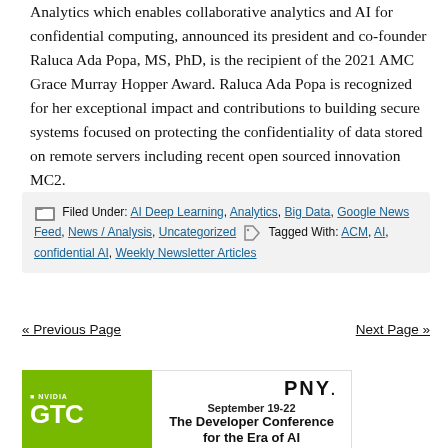Analytics which enables collaborative analytics and AI for confidential computing, announced its president and co-founder Raluca Ada Popa, MS, PhD, is the recipient of the 2021 AMC Grace Murray Hopper Award. Raluca Ada Popa is recognized for her exceptional impact and contributions to building secure systems focused on protecting the confidentiality of data stored on remote servers including recent open sourced innovation MC2.
Filed Under: AI Deep Learning, Analytics, Big Data, Google News Feed, News / Analysis, Uncategorized  Tagged With: ACM, AI, confidential AI, Weekly Newsletter Articles
« Previous Page    Next Page »
[Figure (other): NVIDIA GTC and PNY advertisement banner. Left side: green NVIDIA GTC logo. Right side: PNY logo, September 19-22, The Developer Conference for the Era of AI.]